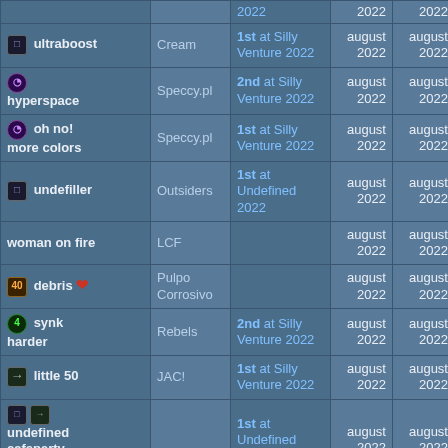| Name | Group | Competition | Date1 | Date2 | N1 | N2 | N3 |
| --- | --- | --- | --- | --- | --- | --- | --- |
| ultraboost | Cream | 1st at Silly Venture 2022 | august 2022 | august 2022 | 6 | 1 |  |
| hyperspace | Speccy.pl | 2nd at Silly Venture 2022 | august 2022 | august 2022 | 2 | 1 |  |
| oh no! more colors | Speccy.pl | 1st at Silly Venture 2022 | august 2022 | august 2022 | 3 | 1 |  |
| undefiller | Outsiders | 1st at Undefined 2022 | august 2022 | august 2022 | 9 | 0 |  |
| woman on fire | LCF |  | august 2022 | august 2022 | 5 | 3 | 4 |
| debris | Pulpo Corrosivo |  | august 2022 | august 2022 | 26 | 0 |  |
| synk harder | Rebels | 2nd at Silly Venture 2022 | august 2022 | august 2022 | 8 | 0 |  |
| little 50 | JAC! | 1st at Silly Venture 2022 | august 2022 | august 2022 | 9 | 0 |  |
| undefined cafeparty invitation |  | 1st at Undefined 2022 | august 2022 | august 2022 | 4 | 3 |  |
|  | Excess |  | august | august |  |  |  |